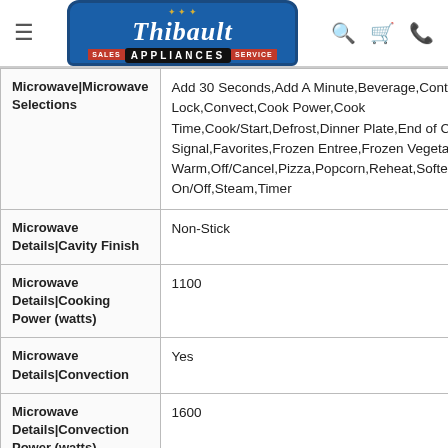[Figure (logo): Thibault Appliances logo — Sales and Service, blue background with italic serif text]
| Feature | Value |
| --- | --- |
| Microwave|Microwave Selections | Add 30 Seconds,Add A Minute,Beverage,Control Lock,Convect,Cook Power,Cook Time,Cook/Start,Defrost,Dinner Plate,End of Cycle Signal,Favorites,Frozen Entree,Frozen Vegetable,Keep Warm,Off/Cancel,Pizza,Popcorn,Reheat,Soften/Melt,Sound On/Off,Steam,Timer |
| Microwave Details|Cavity Finish | Non-Stick |
| Microwave Details|Cooking Power (watts) | 1100 |
| Microwave Details|Convection | Yes |
| Microwave Details|Convection Power (watts) | 1600 |